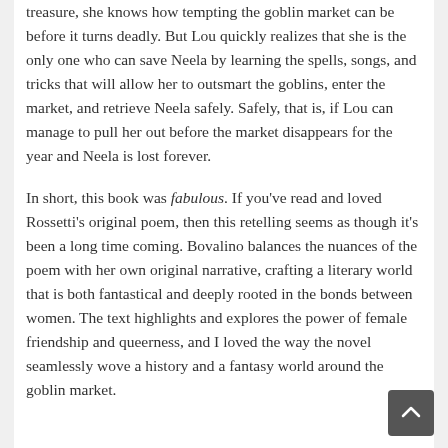treasure, she knows how tempting the goblin market can be before it turns deadly. But Lou quickly realizes that she is the only one who can save Neela by learning the spells, songs, and tricks that will allow her to outsmart the goblins, enter the market, and retrieve Neela safely. Safely, that is, if Lou can manage to pull her out before the market disappears for the year and Neela is lost forever.
In short, this book was fabulous. If you've read and loved Rossetti's original poem, then this retelling seems as though it's been a long time coming. Bovalino balances the nuances of the poem with her own original narrative, crafting a literary world that is both fantastical and deeply rooted in the bonds between women. The text highlights and explores the power of female friendship and queerness, and I loved the way the novel seamlessly wove a history and a fantasy world around the goblin market.